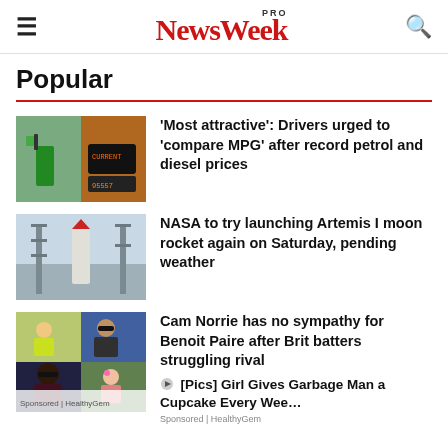NewsWeek PRO
Popular
[Figure (photo): Fuel pump and fuel meter display showing petrol prices]
'Most attractive': Drivers urged to 'compare MPG' after record petrol and diesel prices
[Figure (photo): NASA Artemis I moon rocket on launch pad with tower structures]
NASA to try launching Artemis I moon rocket again on Saturday, pending weather
[Figure (photo): Collage of people including Cam Norrie and others]
Cam Norrie has no sympathy for Benoit Paire after Brit batters struggling rival
[Pics] Girl Gives Garbage Man a Cupcake Every Wee…
Sponsored | HealthyGem